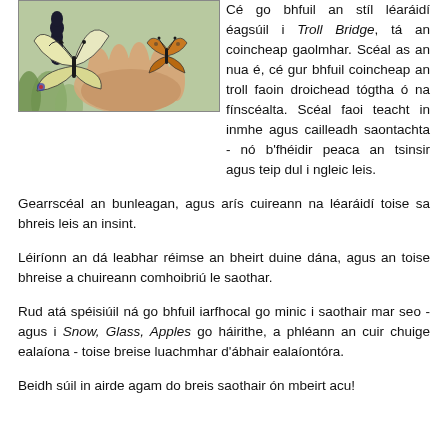[Figure (illustration): Illustration of butterflies and a caterpillar held in a hand, with green foliage background.]
Cé go bhfuil an stíl léaráidí éagsúil i Troll Bridge, tá an coincheap gaolmhar. Scéal as an nua é, cé gur bhfuil coincheap an troll faoin droichead tógtha ó na fínscéalta. Scéal faoi teacht in inmhe agus cailleadh saontachta - nó b'fhéidir peaca an tsinsir agus teip dul i ngleic leis.
Gearrscéal an bunleagan, agus arís cuireann na léaráidí toise sa bhreis leis an insint.
Léiríonn an dá leabhar réimse an bheirt duine dána, agus an toise bhreise a chuireann comhoibriú le saothar.
Rud atá spéisiúil ná go bhfuil iarfhocal go minic i saothair mar seo - agus i Snow, Glass, Apples go háirithe, a phléann an cuir chuige ealaíona - toise breise luachmhar d'ábhair ealaíontóra.
Beidh súil in airde agam do breis saothair ón mbeirt acu!